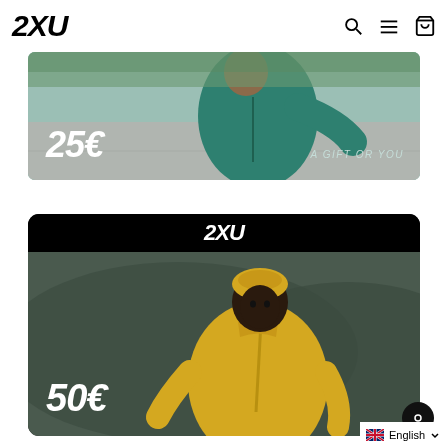2XU
[Figure (photo): 2XU gift card worth 25€ showing a person in a teal green running jacket, with text '25€' in bold white bottom-left and 'A GIFT OR YOU' in light teal bottom-right]
[Figure (photo): 2XU gift card worth 50€ with black header showing '2XU' logo, photo of a person wearing yellow running gear and beanie in outdoor setting, '50€' in bold white bottom-left]
English